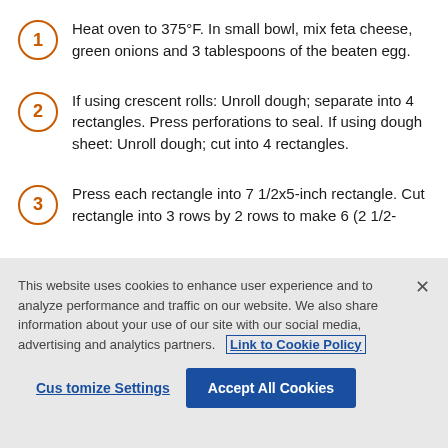1. Heat oven to 375°F. In small bowl, mix feta cheese, green onions and 3 tablespoons of the beaten egg.
2. If using crescent rolls: Unroll dough; separate into 4 rectangles. Press perforations to seal. If using dough sheet: Unroll dough; cut into 4 rectangles.
3. Press each rectangle into 7 1/2x5-inch rectangle. Cut rectangle into 3 rows by 2 rows to make 6 (2 1/2-
This website uses cookies to enhance user experience and to analyze performance and traffic on our website. We also share information about your use of our site with our social media, advertising and analytics partners. Link to Cookie Policy
Customize Settings   Accept All Cookies